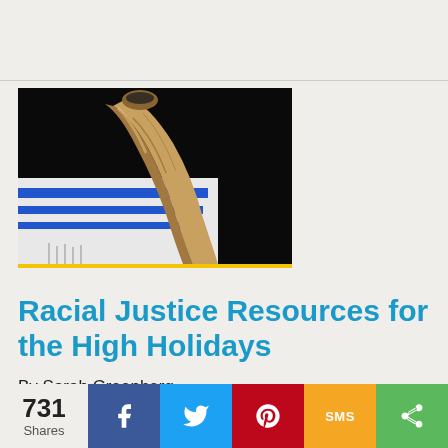[Figure (photo): A shofar (ram's horn) resting on a white and blue tallit (prayer shawl) against a black background, with a yellow-gold border strip at the bottom of the image.]
Racial Justice Resources for the High Holidays
By Sarah Greenberg
731 Shares